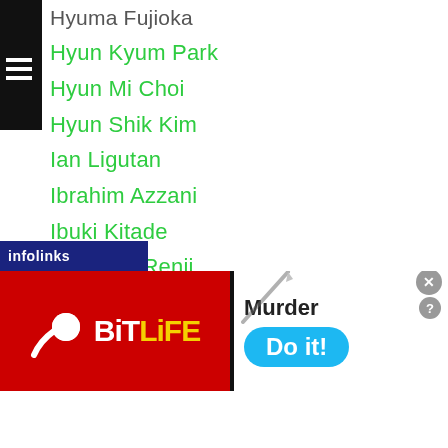Hyuma Fujioka
Hyun Kyum Park
Hyun Mi Choi
Hyun Shik Kim
Ian Ligutan
Ibrahim Azzani
Ibuki Kitade
Ichimura Renji
Ichitaka Matsunishi
Ida Koji
Igor Ivanov
Ihtiyor Djuraev
Iizuka Makoto
Ikeda Shinya
Ik Yang
Ilshat Khusnulgatin
...do Bismanos Jr
[Figure (screenshot): BitLife mobile game advertisement banner with red background, sperm logo, yellow BitLife text, and blue Do it! button with Murder text]